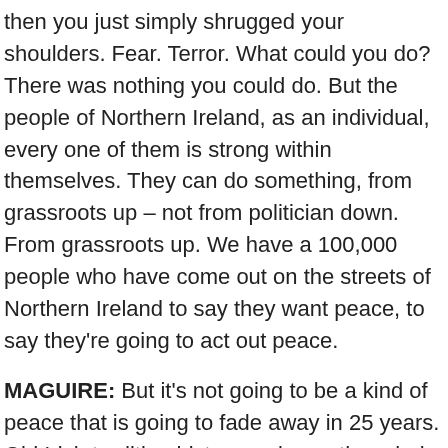then you just simply shrugged your shoulders. Fear. Terror. What could you do? There was nothing you could do. But the people of Northern Ireland, as an individual, every one of them is strong within themselves. They can do something, from grassroots up – not from politician down. From grassroots up. We have a 100,000 people who have come out on the streets of Northern Ireland to say they want peace, to say they're going to act out peace.
MAGUIRE: But it's not going to be a kind of peace that is going to fade away in 25 years. Old Irish tradition history – always the rebels come back again. This peace is going to be a good, constructive, lasting peace and we're going to unite the two communities in Northern Ireland. We're going to have Protestant and Catholic working together, everybody getting in and trying to sort of…if we sort of say to all the community, now